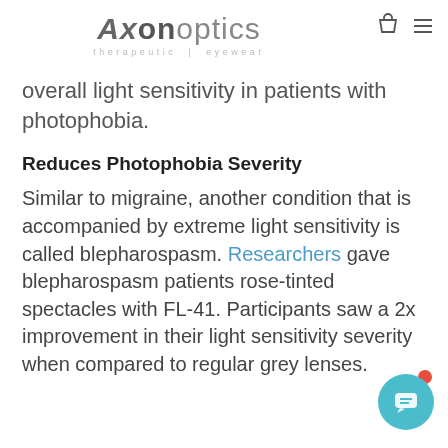Axon Optics - therapeutic eyewear
overall light sensitivity in patients with photophobia.
Reduces Photophobia Severity
Similar to migraine, another condition that is accompanied by extreme light sensitivity is called blepharospasm. Researchers gave blepharospasm patients rose-tinted spectacles with FL-41. Participants saw a 2x improvement in their light sensitivity severity when compared to regular grey lenses.